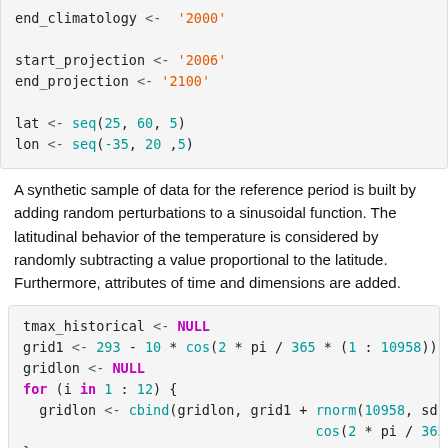end_climatology <- '2000'

start_projection <- '2006'
end_projection <- '2100'

lat <- seq(25, 60, 5)
lon <- seq(-35, 20 ,5)
A synthetic sample of data for the reference period is built by adding random perturbations to a sinusoidal function. The latitudinal behavior of the temperature is considered by randomly subtracting a value proportional to the latitude. Furthermore, attributes of time and dimensions are added.
tmax_historical <- NULL
grid1 <- 293 - 10 * cos(2 * pi / 365 * (1 : 10958)) + rnor
gridlon <- NULL
for (i in 1 : 12) {
  gridlon <- cbind(gridlon, grid1 + rnorm(10958, sd = 5) *
                                    cos(2 * pi / 365 * (1
}
for (j in 1 : 8) {
  gridnew <- apply(gridlon, 2, function(x) {x - rnorm(1095